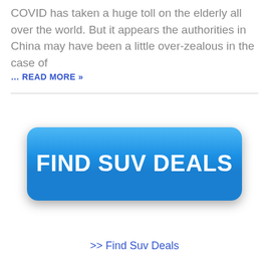COVID has taken a huge toll on the elderly all over the world. But it appears the authorities in China may have been a little over-zealous in the case of
… READ MORE »
[Figure (other): Blue rounded rectangle button with white bold text reading FIND SUV DEALS]
>> Find Suv Deals